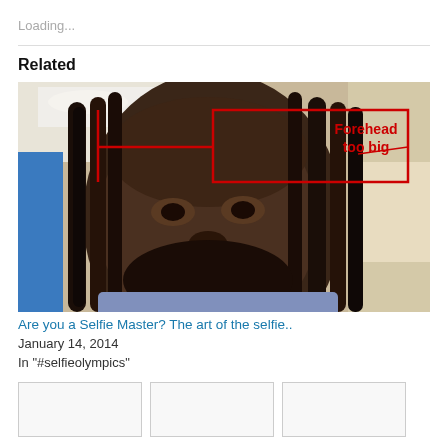Loading...
Related
[Figure (photo): A selfie photo of a man with dreadlocks in an indoor setting. A red rectangle is drawn around his forehead area with a label in red text reading 'Forehead too big'.]
Are you a Selfie Master? The art of the selfie..
January 14, 2014
In "#selfieolympics"
[Figure (photo): Three small thumbnail images in a row at the bottom of the page.]